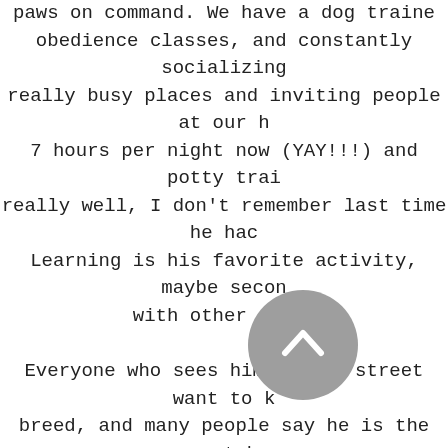paws on command. We have a dog trai obedience classes, and constantly socializing really busy places and inviting people at our h 7 hours per night now (YAY!!!) and potty trai really well, I don't remember last time he hac Learning is his favorite activity, maybe secon with other dogs.

Everyone who sees him on the street want to k breed, and many people say he is the most b they have ever seen, so your warning about c strangers came true!!! J We did make 500 frien month though. I constantly advertise Dreamy prepared to breed more type o

I really appreciate your input o ur bo also would love to hear how ings a

Thank you so much!
[Figure (other): Gray circular back/up navigation button with a white upward-pointing chevron arrow]